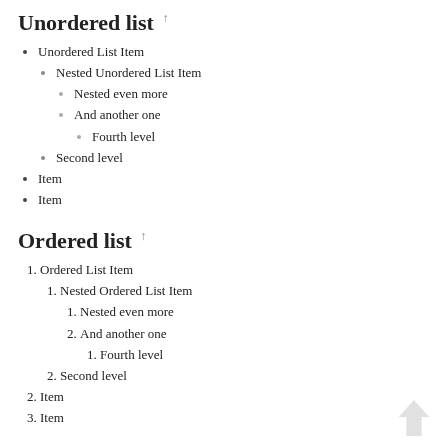Unordered list †
Unordered List Item
Nested Unordered List Item
Nested even more
And another one
Fourth level
Second level
Item
Item
Ordered list †
Ordered List Item
Nested Ordered List Item
Nested even more
And another one
Fourth level
Second level
Item
Item